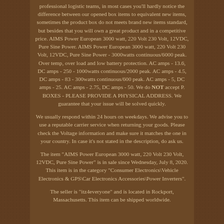professional logistic teams, in most cases you'll hardly notice the difference between our opened box items to equivalent new items, sometimes the product box do not meets brand new items standard, but besides that you will own a great product and in a competitive price. AIMS Power European 3000 watt, 220 Volt 230 Volt, 12VDC, Pure Sine Power. AIMS Power European 3000 watt, 220 Volt 230 Volt, 12VDC, Pure Sine Power - 3000watts continuous/6000 peak. Over temp, over load and low battery protection. AC amps - 13.6, DC amps - 250 - 1000watts continuous/2000 peak. AC amps - 4.5, DC amps - 83 - 300watts continuous/600 peak. AC amps - 5, DC amps - 25. AC amps - 2.75, DC amps - 50. We do NOT accept P. BOXES - PLEASE PROVIDE A PHYSICAL ADDRESS. We guarantee that your issue will be solved quickly.
We usually respond within 24 hours on weekdays. We advise you to use a reputable carrier service when returning your goods. Please check the Voltage information and make sure it matches the one in your country. In case it's not stated in the description, do ask us.
The item "AIMS Power European 3000 watt, 220 Volt 230 Volt, 12VDC, Pure Sine Power" is in sale since Wednesday, July 8, 2020. This item is in the category "Consumer Electronics\Vehicle Electronics & GPS\Car Electronics Accessories\Power Inverters".
The seller is "itz4everyone" and is located in Rockport, Massachusetts. This item can be shipped worldwide.